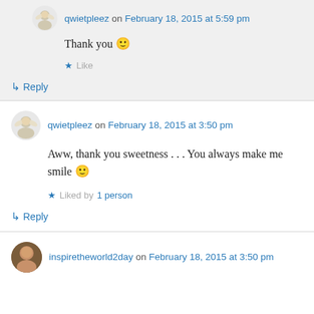qwietpleez on February 18, 2015 at 5:59 pm
Thank you 🙂
★ Like
↳ Reply
qwietpleez on February 18, 2015 at 3:50 pm
Aww, thank you sweetness . . . You always make me smile 🙂
★ Liked by 1 person
↳ Reply
inspiretheworld2day on February 18, 2015 at 3:50 pm